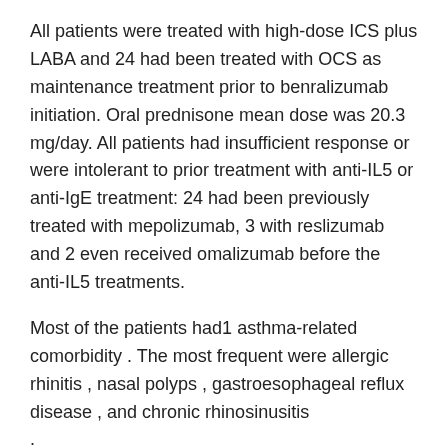All patients were treated with high-dose ICS plus LABA and 24 had been treated with OCS as maintenance treatment prior to benralizumab initiation. Oral prednisone mean dose was 20.3 mg/day. All patients had insufficient response or were intolerant to prior treatment with anti-IL5 or anti-IgE treatment: 24 had been previously treated with mepolizumab, 3 with reslizumab and 2 even received omalizumab before the anti-IL5 treatments.
Most of the patients had1 asthma-related comorbidity . The most frequent were allergic rhinitis , nasal polyps , gastroesophageal reflux disease , and chronic rhinosinusitis .
Table 2 Baseline patient comorbidities